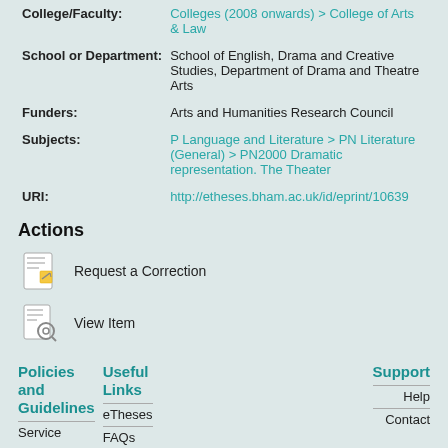| Field | Value |
| --- | --- |
| College/Faculty: | Colleges (2008 onwards) > College of Arts & Law |
| School or Department: | School of English, Drama and Creative Studies, Department of Drama and Theatre Arts |
| Funders: | Arts and Humanities Research Council |
| Subjects: | P Language and Literature > PN Literature (General) > PN2000 Dramatic representation. The Theater |
| URI: | http://etheses.bham.ac.uk/id/eprint/10639 |
Actions
Request a Correction
View Item
Policies and Guidelines  Useful Links  Support
eTheses  Service  FAQs  Help  Contact